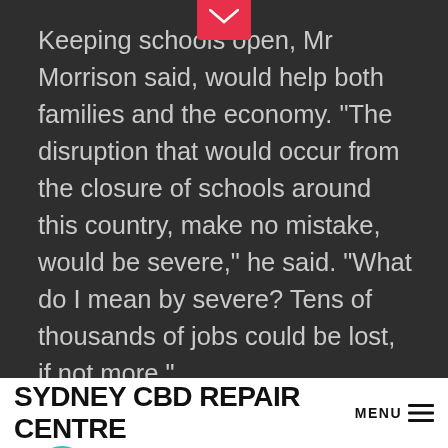Keeping schools open, Mr Morrison said, would help both families and the economy. “The disruption that would occur from the closure of schools around this country, make no mistake, would be severe,” he said. “What do I mean by severe? Tens of thousands of jobs could be lost, if not more.”
[Figure (photo): Dark photograph showing a person partially visible, with blurred vertical panels and interior lighting in background]
SYDNEY CBD REPAIR CENTRE  MENU ☰